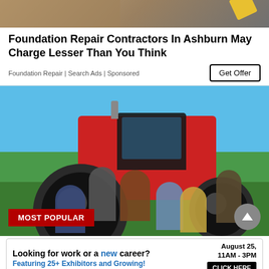[Figure (photo): Top portion of a construction or foundation repair scene with yellow equipment visible]
Foundation Repair Contractors In Ashburn May Charge Lesser Than You Think
Foundation Repair | Search Ads | Sponsored
[Figure (photo): Group of people posing in front of a red tractor in a green field under blue sky. A badge says MOST POPULAR in the lower left corner.]
[Figure (infographic): Bottom banner ad: Looking for work or a new career? August 25, 11AM - 3PM. Featuring 25+ Exhibitors and Growing! CLICK HERE]